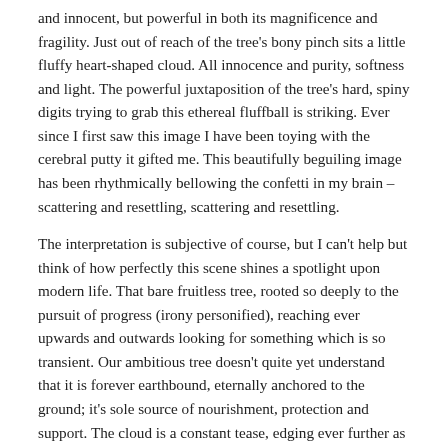and innocent, but powerful in both its magnificence and fragility. Just out of reach of the tree's bony pinch sits a little fluffy heart-shaped cloud. All innocence and purity, softness and light. The powerful juxtaposition of the tree's hard, spiny digits trying to grab this ethereal fluffball is striking. Ever since I first saw this image I have been toying with the cerebral putty it gifted me. This beautifully beguiling image has been rhythmically bellowing the confetti in my brain – scattering and resettling, scattering and resettling.
The interpretation is subjective of course, but I can't help but think of how perfectly this scene shines a spotlight upon modern life. That bare fruitless tree, rooted so deeply to the pursuit of progress (irony personified), reaching ever upwards and outwards looking for something which is so transient. Our ambitious tree doesn't quite yet understand that it is forever earthbound, eternally anchored to the ground; it's sole source of nourishment, protection and support. The cloud is a constant tease, edging ever further as it rides the winds of change. Moving higher, moving further, dissipating. The more the tree stretches, vainly reaching out to try and grasp that little cloud, the more the stretching depletes its lifeforce and the less energy it